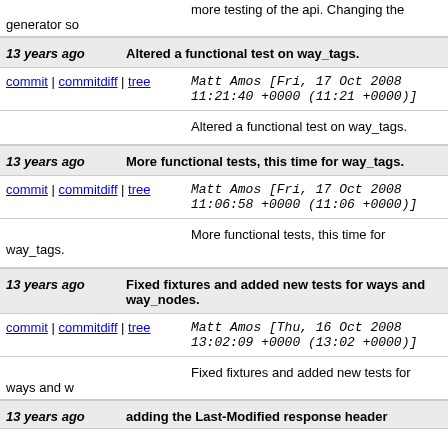more testing of the api. Changing the generator so
13 years ago | Altered a functional test on way_tags.
commit | commitdiff | tree  Matt Amos [Fri, 17 Oct 2008 11:21:40 +0000 (11:21 +0000)]
Altered a functional test on way_tags.
13 years ago | More functional tests, this time for way_tags.
commit | commitdiff | tree  Matt Amos [Fri, 17 Oct 2008 11:06:58 +0000 (11:06 +0000)]
More functional tests, this time for way_tags.
13 years ago | Fixed fixtures and added new tests for ways and way_nodes.
commit | commitdiff | tree  Matt Amos [Thu, 16 Oct 2008 13:02:09 +0000 (13:02 +0000)]
Fixed fixtures and added new tests for ways and w
13 years ago | adding the Last-Modified response header